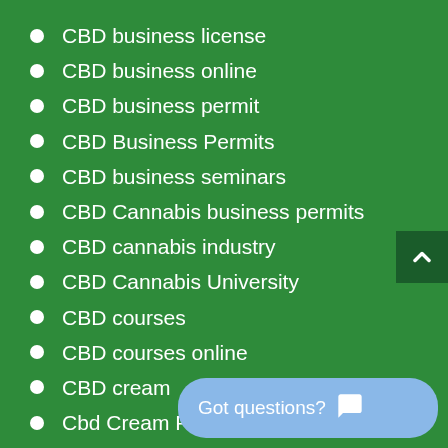CBD business license
CBD business online
CBD business permit
CBD Business Permits
CBD business seminars
CBD Cannabis business permits
CBD cannabis industry
CBD Cannabis University
CBD courses
CBD courses online
CBD cream
Cbd Cream For Acne
CBD Cream For Eczema and
CBD cream for face
CBD For Anxiety